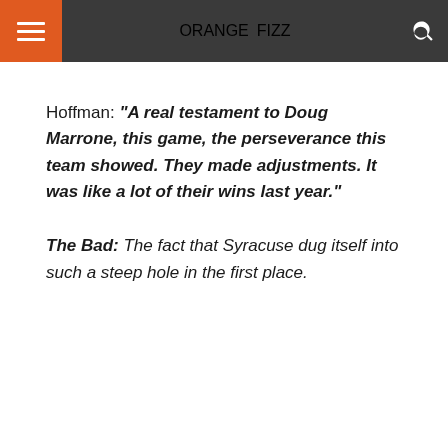ORANGE FIZZ
Hoffman: “A real testament to Doug Marrone, this game, the perseverance this team showed. They made adjustments. It was like a lot of their wins last year.”
The Bad: The fact that Syracuse dug itself into such a steep hole in the first place.